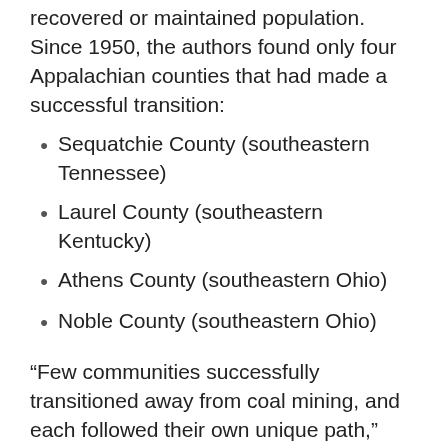recovered or maintained population. Since 1950, the authors found only four Appalachian counties that had made a successful transition:
Sequatchie County (southeastern Tennessee)
Laurel County (southeastern Kentucky)
Athens County (southeastern Ohio)
Noble County (southeastern Ohio)
“Few communities successfully transitioned away from coal mining, and each followed their own unique path,” said Linda Lobao, study coauthor and